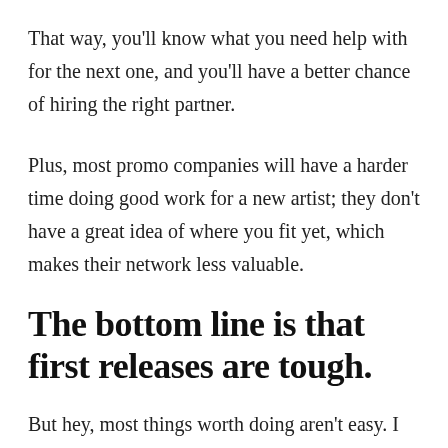That way, you'll know what you need help with for the next one, and you'll have a better chance of hiring the right partner.
Plus, most promo companies will have a harder time doing good work for a new artist; they don't have a great idea of where you fit yet, which makes their network less valuable.
The bottom line is that first releases are tough.
But hey, most things worth doing aren't easy. I hope